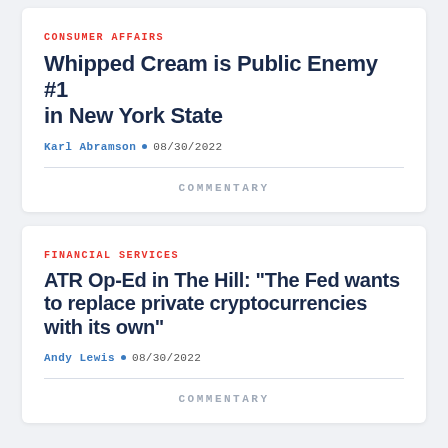CONSUMER AFFAIRS
Whipped Cream is Public Enemy #1 in New York State
Karl Abramson • 08/30/2022
COMMENTARY
FINANCIAL SERVICES
ATR Op-Ed in The Hill: “The Fed wants to replace private cryptocurrencies with its own”
Andy Lewis • 08/30/2022
COMMENTARY